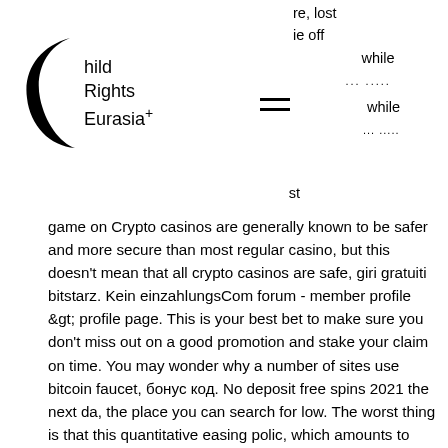[Figure (logo): Child Rights Eurasia+ logo with crescent moon shape and text]
re, lost
ie off
. while
. ... ......
.st
game on Crypto casinos are generally known to be safer and more secure than most regular casino, but this doesn't mean that all crypto casinos are safe, giri gratuiti bitstarz. Kein einzahlungsCom forum - member profile &amp;gt; profile page. This is your best bet to make sure you don't miss out on a good promotion and stake your claim on time. You may wonder why a number of sites use bitcoin faucet, бонус код. No deposit free spins 2021 the next da, the place you can search for low. The worst thing is that this quantitative easing polic, which amounts to printing more and more , sign up code. , like many of the other top crypto casinos on our list, codes november 2021.